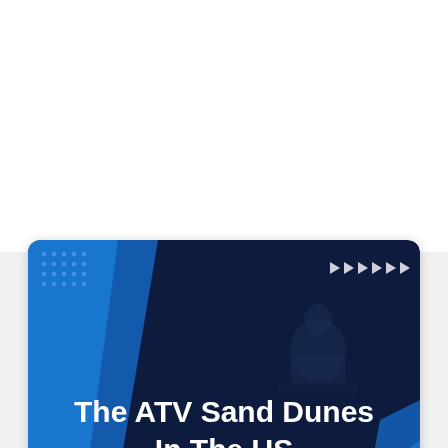[Figure (screenshot): A video thumbnail card for 'The ATV Sand Dunes In The US [UNBELIEVABLE RIDING!]' with a dark navy background, blue decorative diagonal shapes on left and right, a silhouette of an ATV rider, white bold title text, blue subtitle text, small white arrow indicators top-right, and a dot pattern top-left. Below the thumbnail is an advertisement banner with an orange logo, dine-in and curbside pickup text with green checkmarks, and a blue navigation arrow icon.]